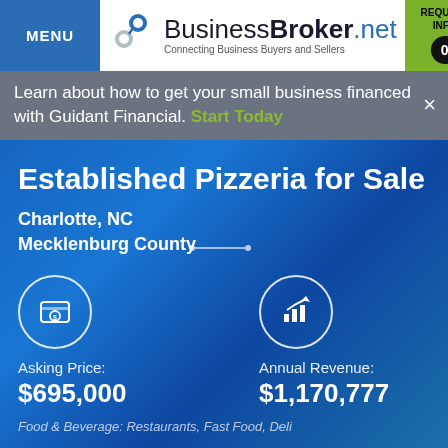MENU | BusinessBroker.net Connecting Business Buyers and Sellers | REQUEST INFO 0
Learn about how to get your small business financed with Guidant Financial. Start Today
Established Pizzeria for Sale
Charlotte, NC
Mecklenburg County
Asking Price: $695,000
Annual Revenue: $1,170,777
Food & Beverage: Restaurants, Fast Food, Deli